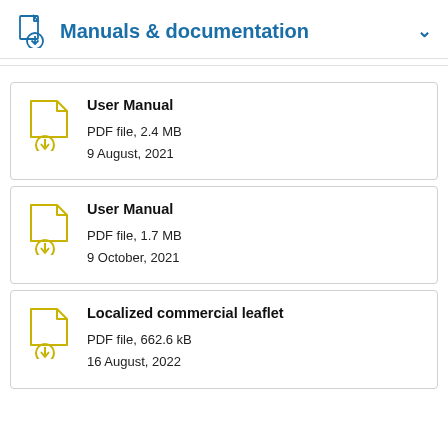Manuals & documentation
[Figure (illustration): Download file icon with blue outline (document with download arrow)]
[Figure (illustration): Document with yellow/olive download icon for User Manual]
User Manual
PDF file, 2.4 MB
9 August, 2021
[Figure (illustration): Document with yellow/olive download icon for User Manual]
User Manual
PDF file, 1.7 MB
9 October, 2021
[Figure (illustration): Document with yellow/olive download icon for Localized commercial leaflet]
Localized commercial leaflet
PDF file, 662.6 kB
16 August, 2022